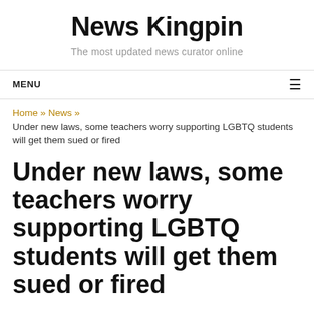News Kingpin
The most updated news curator online
MENU
Home » News » Under new laws, some teachers worry supporting LGBTQ students will get them sued or fired
Under new laws, some teachers worry supporting LGBTQ students will get them sued or fired